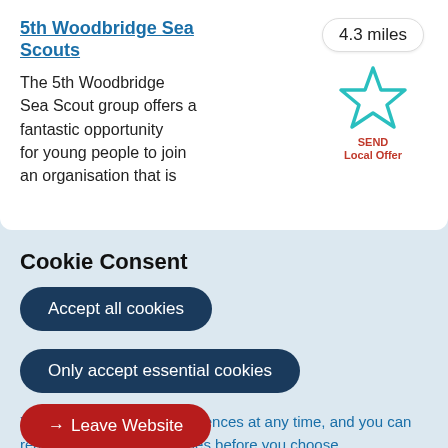5th Woodbridge Sea Scouts
[Figure (illustration): SEND Local Offer star icon outline in teal/green color with red text label 'SEND Local Offer' below]
4.3 miles
The 5th Woodbridge Sea Scout group offers a fantastic opportunity for young people to join an organisation that is
Cookie Consent
Accept all cookies
Only accept essential cookies
You can change your preferences at any time, and you can read more about our cookies before you choose.
Leave Website